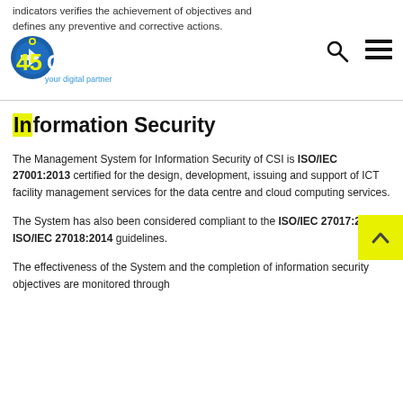indicators verifies the achievement of objectives and defines any preventive and corrective actions.
[Figure (logo): 45CSI logo with text 'your digital partner']
Information Security
The Management System for Information Security of CSI is ISO/IEC 27001:2013 certified for the design, development, issuing and support of ICT facility management services for the data centre and cloud computing services.
The System has also been considered compliant to the ISO/IEC 27017:2015 e ISO/IEC 27018:2014 guidelines.
The effectiveness of the System and the completion of information security objectives are monitored through